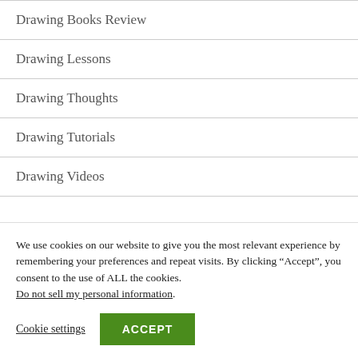Drawing Books Review
Drawing Lessons
Drawing Thoughts
Drawing Tutorials
Drawing Videos
We use cookies on our website to give you the most relevant experience by remembering your preferences and repeat visits. By clicking “Accept”, you consent to the use of ALL the cookies. Do not sell my personal information.
Cookie settings  ACCEPT